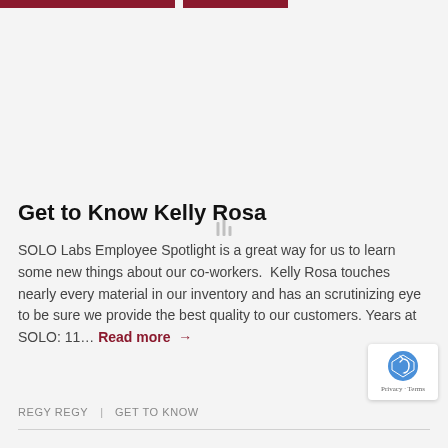[Figure (other): Loading spinner with three vertical bars of varying height in light gray]
Get to Know Kelly Rosa
SOLO Labs Employee Spotlight is a great way for us to learn some new things about our co-workers. Kelly Rosa touches nearly every material in our inventory and has an scrutinizing eye to be sure we provide the best quality to our customers. Years at SOLO: 11… Read more →
REGY REGY | GET TO KNOW